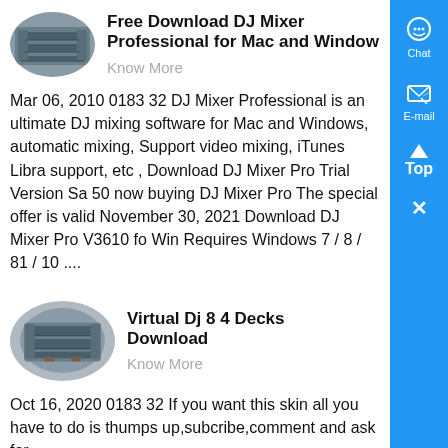[Figure (photo): Oval thumbnail image of an industrial conveyor or mixing machine in a factory setting]
Free Download DJ Mixer Professional for Mac and Windows
Know More
Mar 06, 2010 0183 32 DJ Mixer Professional is an ultimate DJ mixing software for Mac and Windows, automatic mixing, Support video mixing, iTunes Library support, etc , Download DJ Mixer Pro Trial Version Sa 50 now buying DJ Mixer Pro The special offer is valid November 30, 2021 Download DJ Mixer Pro V3610 for Win Requires Windows 7 / 8 / 81 / 10 ....
[Figure (photo): Oval thumbnail image of an industrial conveyor machine in a large warehouse]
Virtual Dj 8 4 Decks Download
Know More
Oct 16, 2020 0183 32 If you want this skin all you have to do is thumps up,subcribe,comment and ask for